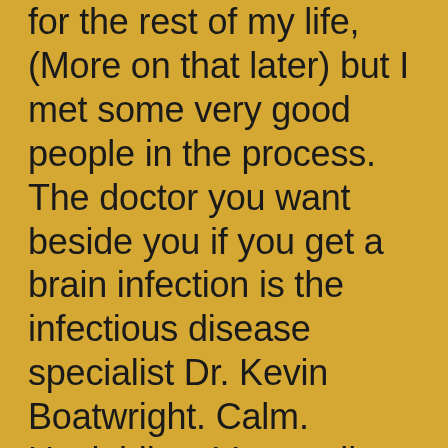for the rest of my life, (More on that later) but I met some very good people in the process. The doctor you want beside you if you get a brain infection is the infectious disease specialist Dr. Kevin Boatwright. Calm. Unyielding. Very well spoken. He visited Linda and I three or four times while the search for the culprit continued. Our bodies, he explained quite graphically, are crawling with bacteria in its hundreds of thousands of variations